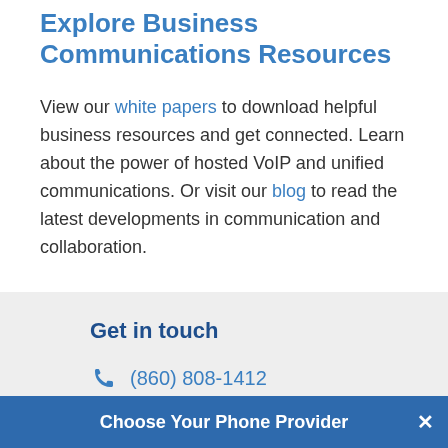Explore Business Communications Resources
View our white papers to download helpful business resources and get connected. Learn about the power of hosted VoIP and unified communications. Or visit our blog to read the latest developments in communication and collaboration.
Get in touch
(860) 808-1412
8 N Main St
Choose Your Phone Provider